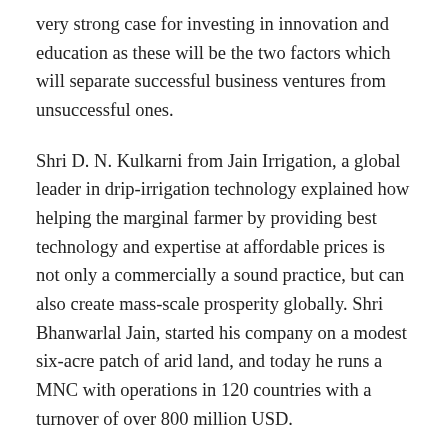very strong case for investing in innovation and education as these will be the two factors which will separate successful business ventures from unsuccessful ones.
Shri D. N. Kulkarni from Jain Irrigation, a global leader in drip-irrigation technology explained how helping the marginal farmer by providing best technology and expertise at affordable prices is not only a commercially a sound practice, but can also create mass-scale prosperity globally. Shri Bhanwarlal Jain, started his company on a modest six-acre patch of arid land, and today he runs a MNC with operations in 120 countries with a turnover of over 800 million USD.
The Forum has also launched Young Hindu Business Leader Forum, which will offer diverse services to aspiring entrepreneurs in areas pertaining to mentoring, capital access,